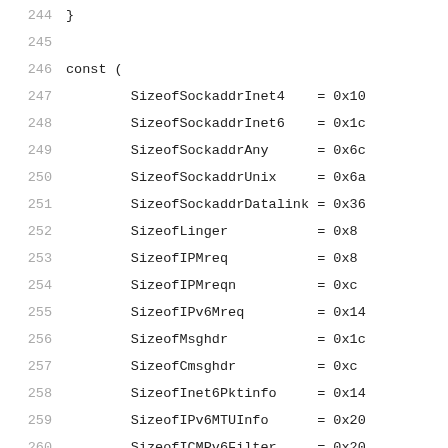244   }
245
246   const (
247       SizeofSockaddrInet4    = 0x10
248       SizeofSockaddrInet6    = 0x1c
249       SizeofSockaddrAny      = 0x6c
250       SizeofSockaddrUnix     = 0x6a
251       SizeofSockaddrDatalink = 0x36
252       SizeofLinger           = 0x8
253       SizeofIPMreq           = 0x8
254       SizeofIPMreqn          = 0xc
255       SizeofIPv6Mreq         = 0x14
256       SizeofMsghdr           = 0x1c
257       SizeofCmsghdr          = 0xc
258       SizeofInet6Pktinfo     = 0x14
259       SizeofIPv6MTUInfo      = 0x20
260       SizeofICMPv6Filter     = 0x20
261   )
262
263   const (
264       PTRACE_TRACEME = 0x0
265       PTRACE_CONT    = 0x7